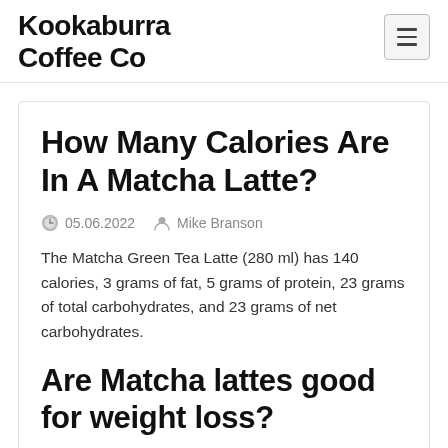Kookaburra Coffee Co
How Many Calories Are In A Matcha Latte?
05.06.2022  Mike Branson
The Matcha Green Tea Latte (280 ml) has 140 calories, 3 grams of fat, 5 grams of protein, 23 grams of total carbohydrates, and 23 grams of net carbohydrates.
Are Matcha lattes good for weight loss?